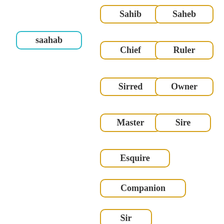saahab
Sahib
Saheb
Chief
Ruler
Sirred
Owner
Master
Sire
Esquire
Companion
Sir
Next to Sahibs